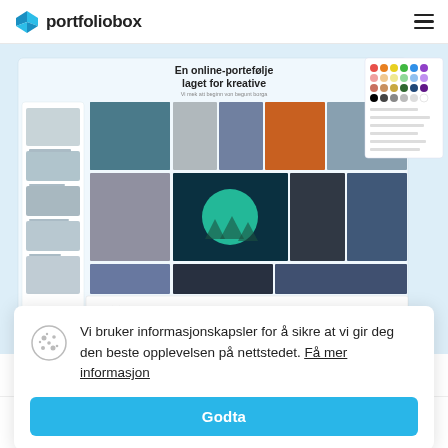portfoliobox
[Figure (screenshot): Portfoliobox website hero screenshot showing an online portfolio with a grid of photos — portraits, architecture, nature — and UI panels for editing. Text reads 'En online-portefølje laget for kreative'.]
Vi bruker informasjonskapsler for å sikre at vi gir deg den beste opplevelsen på nettstedet. Få mer informasjon
Godta
Artister
Domene og e-post